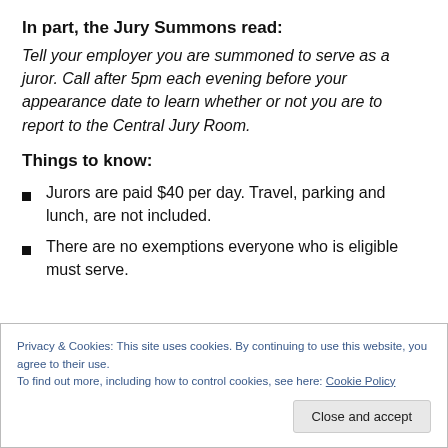In part, the Jury Summons read:
Tell your employer you are summoned to serve as a juror. Call after 5pm each evening before your appearance date to learn whether or not you are to report to the Central Jury Room.
Things to know:
Jurors are paid $40 per day. Travel, parking and lunch, are not included.
There are no exemptions everyone who is eligible must serve.
Privacy & Cookies: This site uses cookies. By continuing to use this website, you agree to their use.
To find out more, including how to control cookies, see here: Cookie Policy